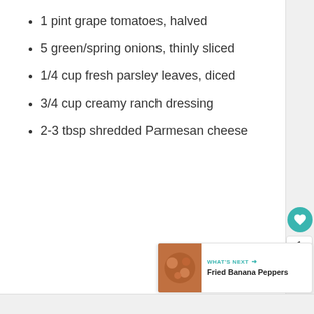1 pint grape tomatoes, halved
5 green/spring onions, thinly sliced
1/4 cup fresh parsley leaves, diced
3/4 cup creamy ranch dressing
2-3 tbsp shredded Parmesan cheese
WHAT'S NEXT → Fried Banana Peppers